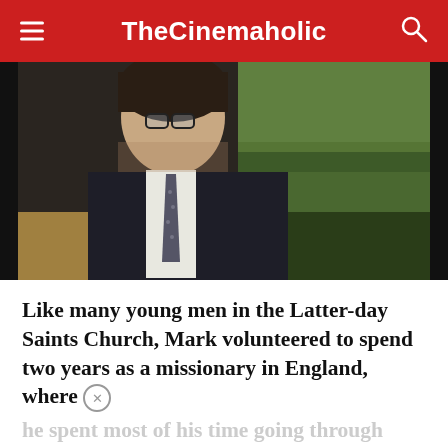TheCinemaholic
[Figure (photo): A young man with dark curly hair and glasses wearing a dark suit and tie, photographed outdoors with green trees/bushes in the background. The image appears to be from an older era based on the photo quality.]
Like many young men in the Latter-day Saints Church, Mark volunteered to spend two years as a missionary in England, where he spent most of his time going through bookstores to look for early Mormon material, as well as books critiquing Mormonism.